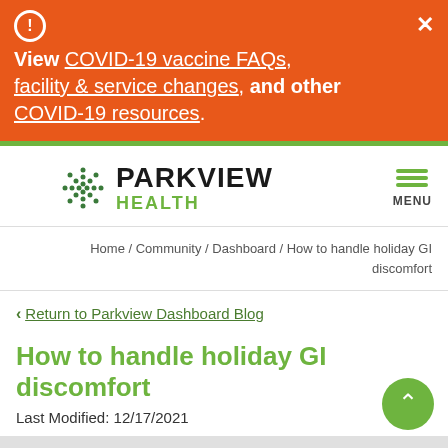View COVID-19 vaccine FAQs, facility & service changes, and other COVID-19 resources.
[Figure (logo): Parkview Health logo with green snowflake/diamond icon, PARKVIEW in bold black, HEALTH in green]
Home / Community / Dashboard / How to handle holiday GI discomfort
< Return to Parkview Dashboard Blog
How to handle holiday GI discomfort
Last Modified: 12/17/2021